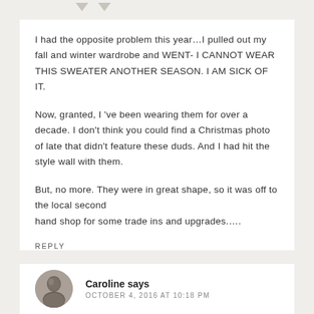[Figure (illustration): Two downward-pointing arrow/chevron icons at the top of the comment section]
I had the opposite problem this year…I pulled out my fall and winter wardrobe and WENT- I CANNOT WEAR THIS SWEATER ANOTHER SEASON. I AM SICK OF IT.
Now, granted, I 've been wearing them for over a decade. I don't think you could find a Christmas photo of late that didn't feature these duds. And I had hit the style wall with them.
But, no more. They were in great shape, so it was off to the local second hand shop for some trade ins and upgrades.…
REPLY
Caroline says
OCTOBER 4, 2016 AT 10:18 PM